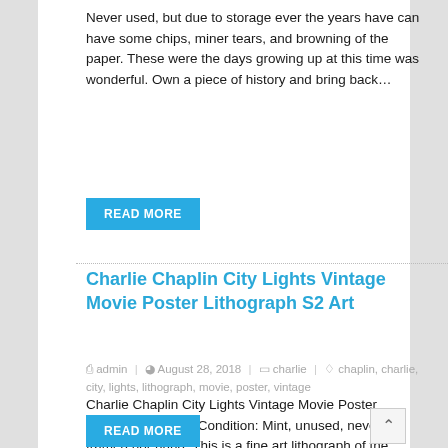Never used, but due to storage ever the years have can have some chips, miner tears, and browning of the paper. These were the days growing up at this time was wonderful. Own a piece of history and bring back…
READ MORE
Charlie Chaplin City Lights Vintage Movie Poster Lithograph S2 Art
admin | August 28, 2018 | charlie | chaplin, charlie, city, lights, lithograph, movie, poster, vintage
Charlie Chaplin City Lights Vintage Movie Poster Lithograph S2 Art. Condition: Mint, unused, never framed nor hung. This is a fine art lithograph of the original movie poster titled. The vintage one-sheet was originally created in 1931 to advertise the…
READ MORE